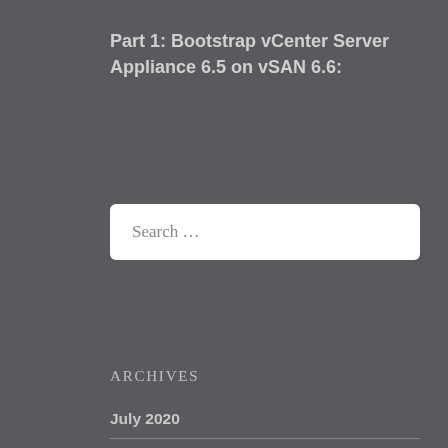Part 1: Bootstrap vCenter Server Appliance 6.5 on vSAN 6.6:
Search …
ARCHIVES
July 2020
October 2017
August 2017